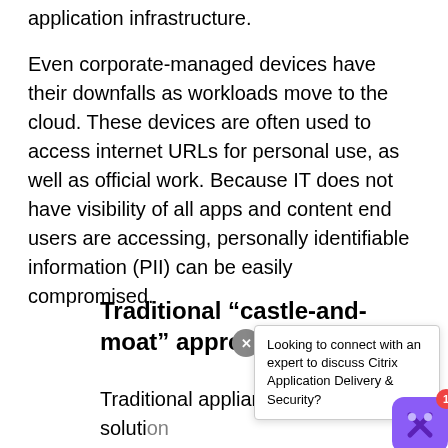application infrastructure.
Even corporate-managed devices have their downfalls as workloads move to the cloud. These devices are often used to access internet URLs for personal use, as well as official work. Because IT does not have visibility of all apps and content end users are accessing, personally identifiable information (PII) can be easily compromised.
Traditional “castle-and-moat” approach
Traditional appliance-based security solutions were designed with on-premise corporate network. These solutions were
[Figure (other): Tooltip overlay with close button and Citrix chat widget. Tooltip reads: 'Looking to connect with an expert to discuss Citrix Application Delivery & Security?' Chat button is purple with an X icon and a red notification badge showing 1.]